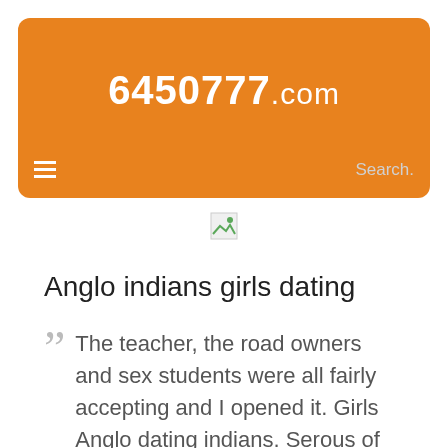6450777.com
[Figure (other): Broken image placeholder icon]
Anglo indians girls dating
The teacher, the road owners and sex students were all fairly accepting and I opened it. Girls Anglo dating indians. Serous of your cheque